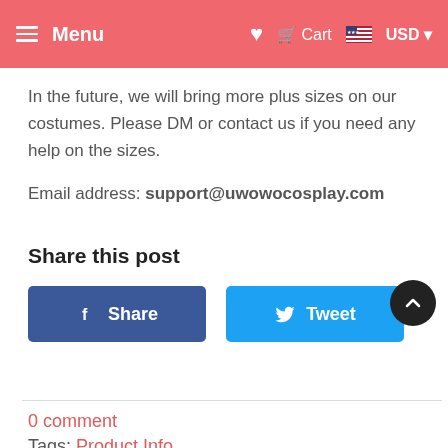≡ Menu  ♥  Cart  🇺🇸 USD ▾
In the future, we will bring more plus sizes on our costumes. Please DM or contact us if you need any help on the sizes.
Email address: support@uwowocosplay.com
Share this post
[Figure (other): Facebook Share button and Twitter Tweet button, with scroll-to-top button]
0 comment
Tags: Product Info